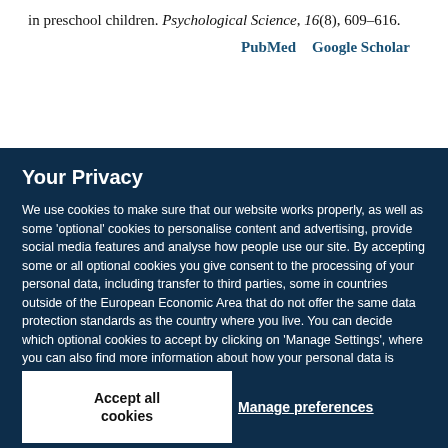in preschool children. Psychological Science, 16(8), 609–616.
PubMed   Google Scholar
Your Privacy
We use cookies to make sure that our website works properly, as well as some 'optional' cookies to personalise content and advertising, provide social media features and analyse how people use our site. By accepting some or all optional cookies you give consent to the processing of your personal data, including transfer to third parties, some in countries outside of the European Economic Area that do not offer the same data protection standards as the country where you live. You can decide which optional cookies to accept by clicking on 'Manage Settings', where you can also find more information about how your personal data is processed. Further information can be found in our privacy policy.
Accept all cookies
Manage preferences